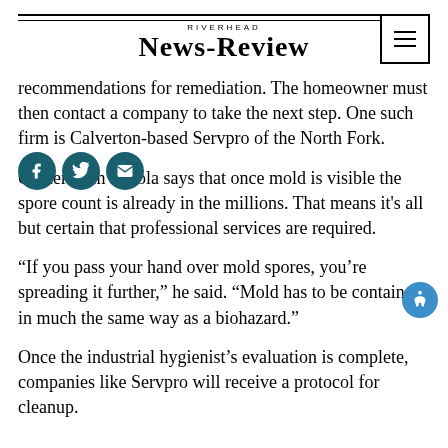RIVERHEAD NEWS-REVIEW
recommendations for remediation. The homeowner must then contact a company to take the next step. One such firm is Calverton-based Servpro of the North Fork.
Owner Rich Fevola says that once mold is visible the spore count is already in the millions. That means it's all but certain that professional services are required.
“If you pass your hand over mold spores, you’re spreading it further,” he said. “Mold has to be contained in much the same way as a biohazard.”
Once the industrial hygienist’s evaluation is complete, companies like Servpro will receive a protocol for cleanup.